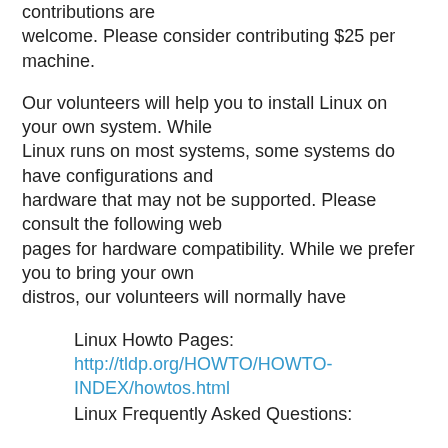contributions are welcome. Please consider contributing $25 per machine.
Our volunteers will help you to install Linux on your own system. While Linux runs on most systems, some systems do have configurations and hardware that may not be supported. Please consult the following web pages for hardware compatibility. While we prefer you to bring your own distros, our volunteers will normally have
Linux Howto Pages: http://tldp.org/HOWTO/HOWTO-INDEX/howtos.html
Linux Frequently Asked Questions: http://tldp.org/docs.html#faq
Additionally, there are forums and listservs for most distros.
Generally our volunteers have sets of the latest Fedora, SuSE and Ubuntu